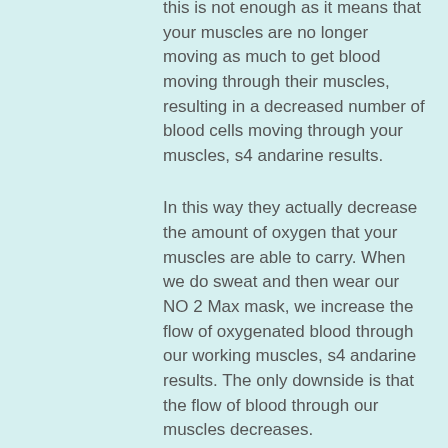this is not enough as it means that your muscles are no longer moving as much to get blood moving through their muscles, resulting in a decreased number of blood cells moving through your muscles, s4 andarine results.
In this way they actually decrease the amount of oxygen that your muscles are able to carry. When we do sweat and then wear our NO 2 Max mask, we increase the flow of oxygenated blood through our working muscles, s4 andarine results. The only downside is that the flow of blood through our muscles decreases.
You can actually use this mask for your workouts or as much as you like as long as you are able to get to the workout without feeling hot or chapped, s4 andarine headache.